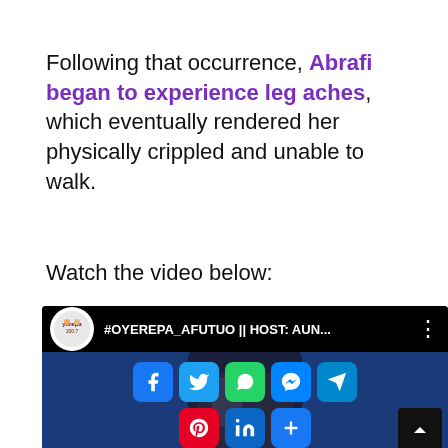Following that occurrence, Abrafi began to experience leg aches, which eventually rendered her physically crippled and unable to walk.
Watch the video below:
[Figure (screenshot): YouTube video embed with Yerepa 100.7 logo, title #OYEREPA_AFUTUO || HOST: AUN..., and social media sharing icons (Facebook, Twitter, WhatsApp, Messenger, Telegram, Pinterest, LinkedIn, More) overlaid on video content]